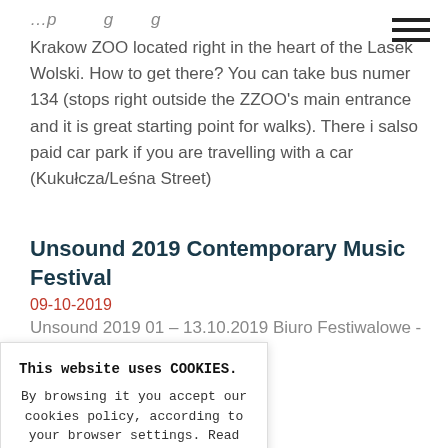[hamburger menu icon]
Krakow ZOO located right in the heart of the Lasek Wolski. How to get there? You can take bus numer 134 (stops right outside the ZZOO's main entrance and it is great starting point for walks). There i salso paid car park if you are travelling with a car (Kukułcza/Leśna Street)
Unsound 2019 Contemporary Music Festival
09-10-2019
Unsound 2019 01 – 13.10.2019 Biuro Festiwalowe - Pałac
This website uses COOKIES. By browsing it you accept our cookies policy, according to your browser settings. Read more about Privacy Policy. OK, close
4.10.2019 Cricoteka